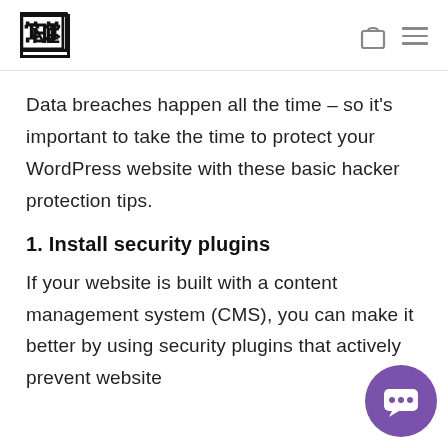[Logo: TE] [bag icon] [menu icon]
Data breaches happen all the time – so it's important to take the time to protect your WordPress website with these basic hacker protection tips.
1. Install security plugins
If your website is built with a content management system (CMS), you can make it better by using security plugins that actively prevent website
[Figure (illustration): Purple circular chat bubble button in bottom-right corner]